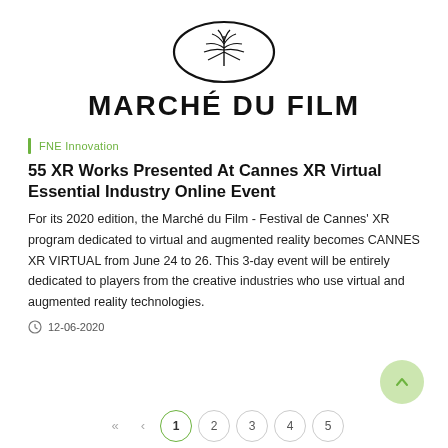[Figure (logo): Marché du Film logo: oval with palm leaf illustration above text MARCHÉ DU FILM]
MARCHÉ DU FILM
FNE Innovation
55 XR Works Presented At Cannes XR Virtual Essential Industry Online Event
For its 2020 edition, the Marché du Film - Festival de Cannes' XR program dedicated to virtual and augmented reality becomes CANNES XR VIRTUAL from June 24 to 26. This 3-day event will be entirely dedicated to players from the creative industries who use virtual and augmented reality technologies.
12-06-2020